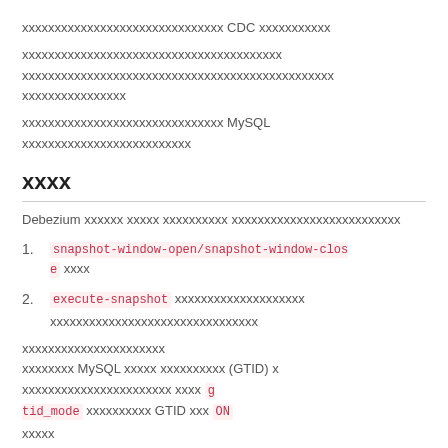xxxxxxxxxxxxxxxxxxxxxxxxxxxxxxx CDC xxxxxxxxxxx
xxxxxxxxxxxxxxxxxxxxxxxxxxxxxxxxxxxxxxxx xxxxxxxxxxxxxxxxxxxxxxxxxxxxxxxxxxxxxxxxxxxxxxxx xxxxxxxxxxxxxxxx
xxxxxxxxxxxxxxxxxxxxxxxxxxxxxxx MySQL xxxxxxxxxxxxxxxxxxxxxxxxxx
xxxx
Debezium xxxxxx xxxxx xxxxxxxxxx xxxxxxxxxxxxxxxxxxxxxxxxxx
snapshot-window-open/snapshot-window-close xxxx
execute-snapshot xxxxxxxxxxxxxxxxxxxx xxxxxxxxxxxxxxxxxxxxxxxxxxxxxxxx
xxxxxxxxxxxxxxxxxxxxxx
xxxxxxxx MySQLxxxxx xxxxxxxxxx (GTID) x xxxxxxxxxxxxxxxxxxxxxxx xxxx gtid_mode xxxxxxxxxx GTID xxx ON
xxxxx